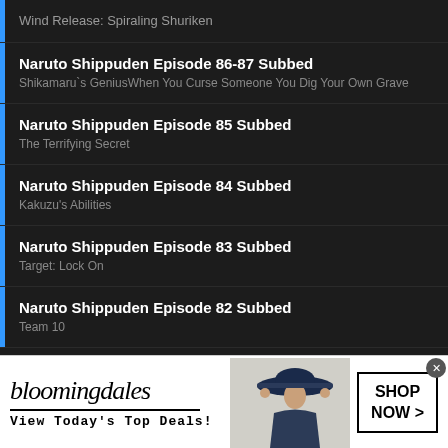Wind Release: Spiraling Shuriken
Naruto Shippuden Episode 86-87 Subbed
Shikamaru's GeniusWhen You Curse Someone You Dig Your Own Grave
Naruto Shippuden Episode 85 Subbed
The Terrifying Secret
Naruto Shippuden Episode 84 Subbed
Kakuzu's Abilities
Naruto Shippuden Episode 83 Subbed
Target: Lock On
Naruto Shippuden Episode 82 Subbed
Team 10
[Figure (screenshot): Bloomingdale's advertisement banner with woman in black hat, 'View Today's Top Deals!' text, and 'SHOP NOW >' button]